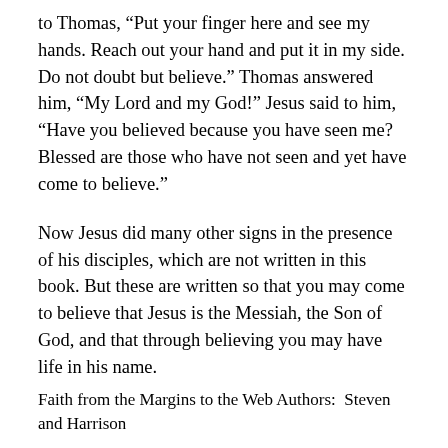to Thomas, “Put your finger here and see my hands. Reach out your hand and put it in my side. Do not doubt but believe.” Thomas answered him, “My Lord and my God!” Jesus said to him, “Have you believed because you have seen me? Blessed are those who have not seen and yet have come to believe.”
Now Jesus did many other signs in the presence of his disciples, which are not written in this book. But these are written so that you may come to believe that Jesus is the Messiah, the Son of God, and that through believing you may have life in his name.
Faith from the Margins to the Web Authors:  Steven and Harrison